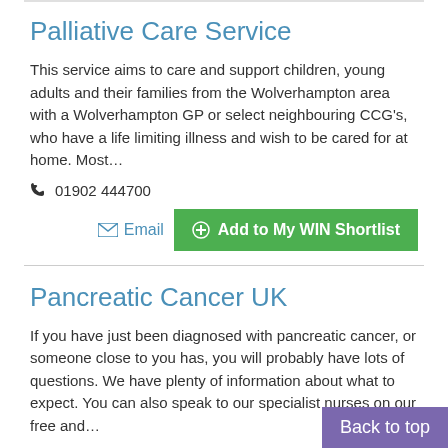Palliative Care Service
This service aims to care and support children, young adults and their families from the Wolverhampton area with a Wolverhampton GP or select neighbouring CCG's, who have a life limiting illness and wish to be cared for at home. Most…
☎ 01902 444700
Email | Add to My WIN Shortlist
Pancreatic Cancer UK
If you have just been diagnosed with pancreatic cancer, or someone close to you has, you will probably have lots of questions. We have plenty of information about what to expect. You can also speak to our specialist nurses on our free and…
☎ General: 020 3535 7090, ☎ Talk to a Nurse: 0808 801 0707
Website | Email | Add to My W… | Back to top